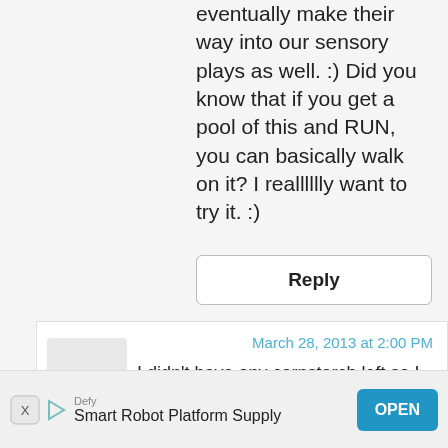eventually make their way into our sensory plays as well. :) Did you know that if you get a pool of this and RUN, you can basically walk on it? I realllllly want to try it. :)
Reply
March 28, 2013 at 2:00 PM
I didn't have any cornstarch left so I tried with plain flour. My son put a few fingers in, licked and alsmot threw up (actually did threw up a tiny bit) then cried until I cleaned his hands... Some other time I guess, and maybe with proper cornstarch next time
Defy Smart Robot Platform Supply OPEN